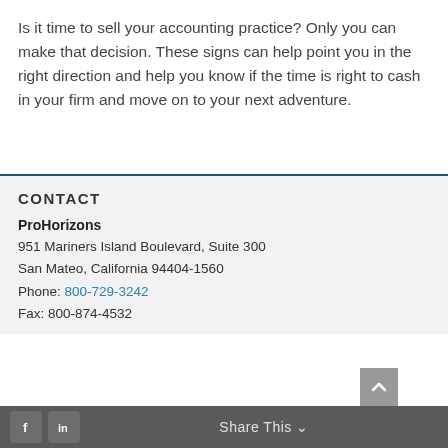Is it time to sell your accounting practice? Only you can make that decision. These signs can help point you in the right direction and help you know if the time is right to cash in your firm and move on to your next adventure.
CONTACT
ProHorizons
951 Mariners Island Boulevard, Suite 300
San Mateo, California 94404-1560
Phone: 800-729-3242
Fax: 800-874-4532
Share This